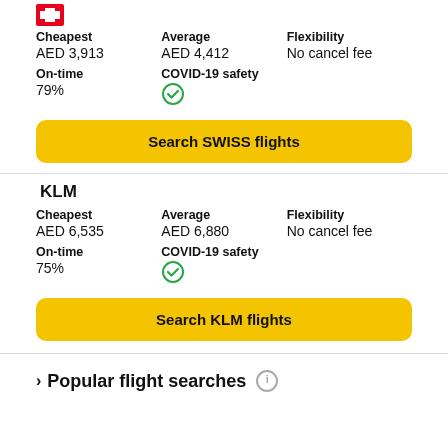Cheapest: AED 3,913 | Average: AED 4,412 | Flexibility: No cancel fee
On-time: 79% | COVID-19 safety: checked
Search SWISS flights
KLM
Cheapest: AED 6,535 | Average: AED 6,880 | Flexibility: No cancel fee
On-time: 75% | COVID-19 safety: checked
Search KLM flights
Popular flight searches